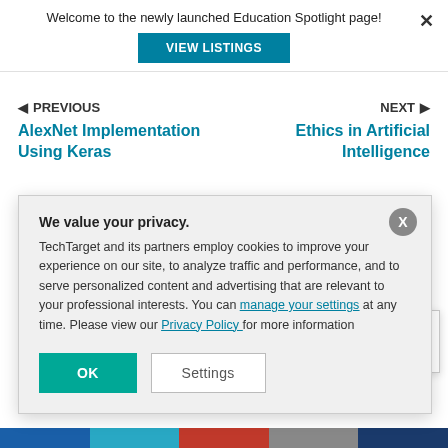Welcome to the newly launched Education Spotlight page!
VIEW LISTINGS
PREVIOUS
NEXT
AlexNet Implementation Using Keras
Ethics in Artificial Intelligence
and business
SC Members
We value your privacy. TechTarget and its partners employ cookies to improve your experience on our site, to analyze traffic and performance, and to serve personalized content and advertising that are relevant to your professional interests. You can manage your settings at any time. Please view our Privacy Policy for more information
OK
Settings